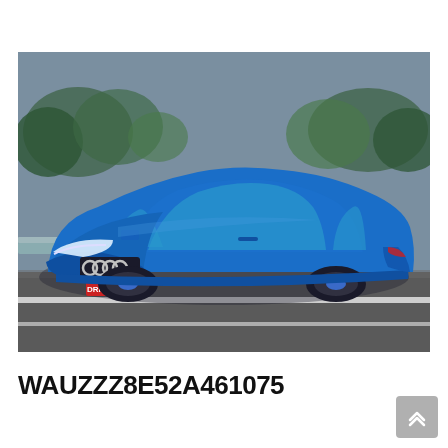[Figure (photo): A blue Audi A4 sedan driving on a highway with blurred background trees and road. The car has a red license plate reading 'DRIVE - TEST'. The front three-quarter angle shows the Audi four-ring logo prominently.]
WAUZZZ8E52A461075